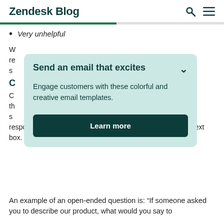Zendesk Blog
Very unhelpful
W... re... s...
C...
C... th... s... responses. These questions are usually accompanied by a text box.
[Figure (other): Promotional overlay card: 'Send an email that excites' — Engage customers with these colorful and creative email templates. Learn more button.]
An example of an open-ended question is: “If someone asked you to describe our product, what would you say to